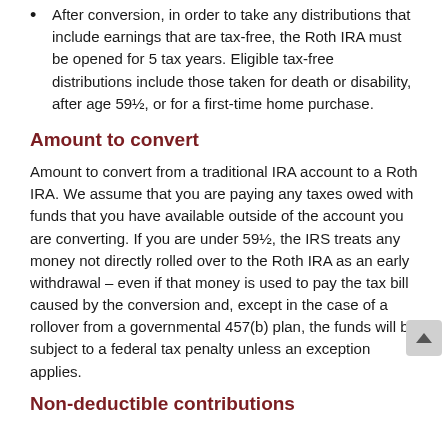After conversion, in order to take any distributions that include earnings that are tax-free, the Roth IRA must be opened for 5 tax years. Eligible tax-free distributions include those taken for death or disability, after age 59½, or for a first-time home purchase.
Amount to convert
Amount to convert from a traditional IRA account to a Roth IRA. We assume that you are paying any taxes owed with funds that you have available outside of the account you are converting. If you are under 59½, the IRS treats any money not directly rolled over to the Roth IRA as an early withdrawal – even if that money is used to pay the tax bill caused by the conversion and, except in the case of a rollover from a governmental 457(b) plan, the funds will be subject to a federal tax penalty unless an exception applies.
Non-deductible contributions